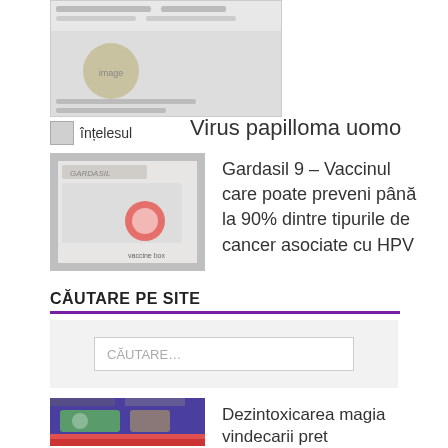[Figure (photo): Top banner image with text overlay, health/wellness related]
înțelesul
Virus papilloma uomo
[Figure (photo): Photo of Gardasil 9 vaccine product box]
Gardasil 9 – Vaccinul care poate preveni până la 90% dintre tipurile de cancer asociate cu HPV
CĂUTARE PE SITE
CĂUTARE…
[Figure (photo): Book cover with purple/green background showing food items]
Dezintoxicarea magia vindecarii pret